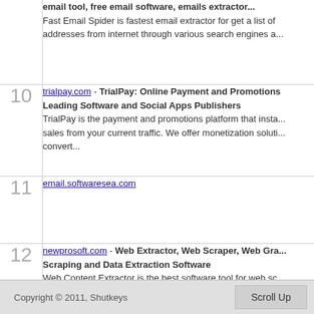| # | Site |
| --- | --- |
| (partial top) | email tool, free email software, emails extractor... Fast Email Spider is fastest email extractor for get a list of addresses from internet through various search engines a... |
| 10 | trialpay.com - TrialPay: Online Payment and Promotions Leading Software and Social Apps Publishers | TrialPay is the payment and promotions platform that insta... sales from your current traffic. We offer monetization soluti... convert... |
| 11 | email.softwaresea.com |
| 12 | newprosoft.com - Web Extractor, Web Scraper, Web Gra... Scraping and Data Extraction Software | Web Content Extractor is the best software tool for web sc... harvesting and data extraction |
Copyright © 2011, Shutkeys